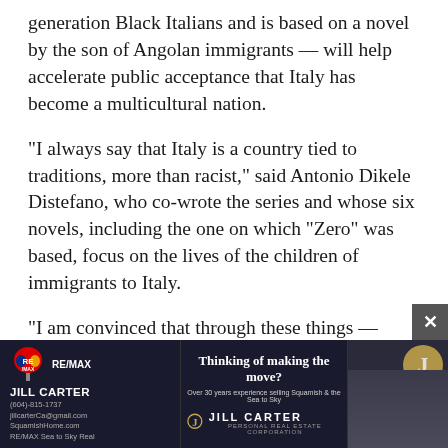generation Black Italians and is based on a novel by the son of Angolan immigrants — will help accelerate public acceptance that Italy has become a multicultural nation.
“I always say that Italy is a country tied to traditions, more than racist,” said Antonio Dikele Distefano, who co-wrote the series and whose six novels, including the one on which “Zero” was based, focus on the lives of the children of immigrants to Italy.
“I am convinced that through these things — writing novels, the possibility of making a series — things can change,” he said.
“Zero” is a radical departure because it provides role
[Figure (infographic): RE/MAX advertisement banner featuring Jill Carter, a real estate agent. Dark navy background with RE/MAX logo and balloon, agent name and contact details on left, center text 'Thinking of making the move?' with Jill Carter branding, and photo of agent on right with gold circle logo.]